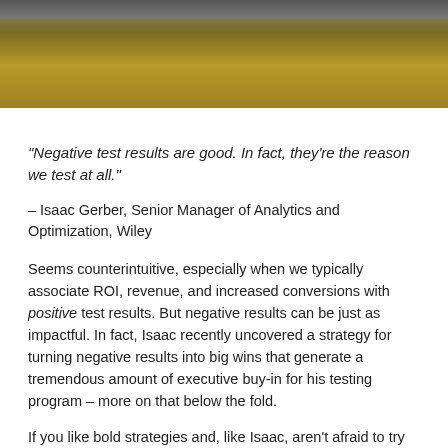[Figure (photo): Partial photo at top of page showing what appears to be a golden/amber colored surface, likely a desk or table, with a dark object at the top edge.]
“Negative test results are good. In fact, they’re the reason we test at all.”
– Isaac Gerber, Senior Manager of Analytics and Optimization, Wiley
Seems counterintuitive, especially when we typically associate ROI, revenue, and increased conversions with positive test results. But negative results can be just as impactful. In fact, Isaac recently uncovered a strategy for turning negative results into big wins that generate a tremendous amount of executive buy-in for his testing program – more on that below the fold.
If you like bold strategies and, like Isaac, aren’t afraid to try something new you’re in the right place. We